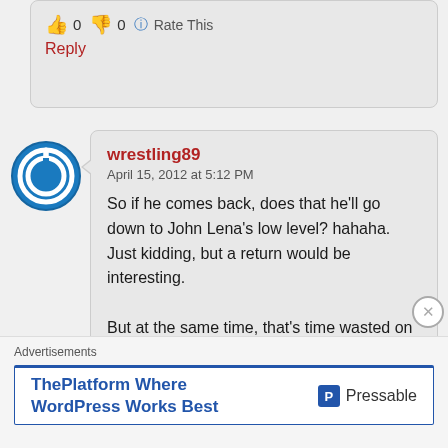👍 0 👎 0 ℹ Rate This
Reply
wrestling89
April 15, 2012 at 5:12 PM
So if he comes back, does that he'll go down to John Lena's low level? hahaha. Just kidding, but a return would be interesting.

But at the same time, that's time wasted on a veteran when they could use that time to push the young guys
Advertisements
ThePlatform Where WordPress Works Best
Pressable